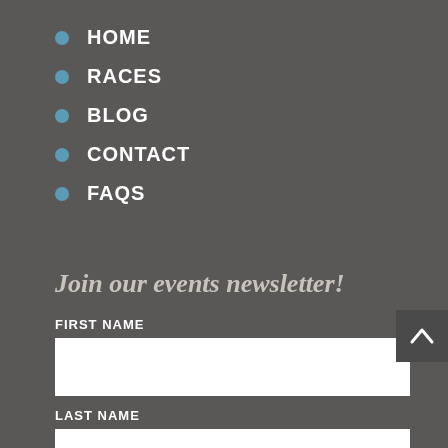HOME
RACES
BLOG
CONTACT
FAQS
Join our events newsletter!
FIRST NAME
LAST NAME
EMAIL ADDRESS: